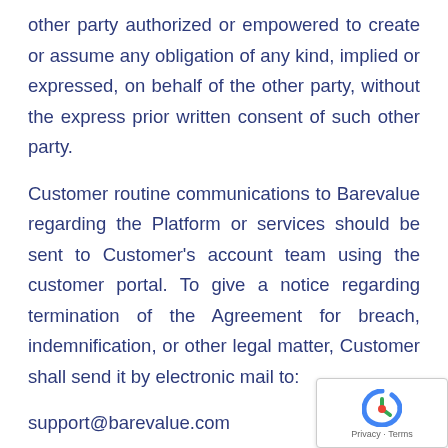other party authorized or empowered to create or assume any obligation of any kind, implied or expressed, on behalf of the other party, without the express prior written consent of such other party.
Customer routine communications to Barevalue regarding the Platform or services should be sent to Customer's account team using the customer portal. To give a notice regarding termination of the Agreement for breach, indemnification, or other legal matter, Customer shall send it by electronic mail to:
support@barevalue.com
Barevalue's routine communications regarding the Platform or services and legal notices shall be po on the customer portal or sent by email or post to the